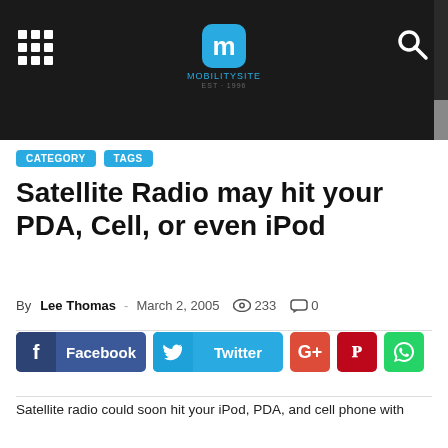[Figure (screenshot): Website header/navigation bar with dark background, grid menu icon on left, 'm' logo in cyan rounded square in center, search icon on right]
Satellite Radio may hit your PDA, Cell, or even iPod
By Lee Thomas - March 2, 2005  233  0
[Figure (infographic): Social sharing buttons: Facebook, Twitter, G+, Pinterest, WhatsApp]
Satellite radio could soon hit your iPod, PDA, and cell phone with